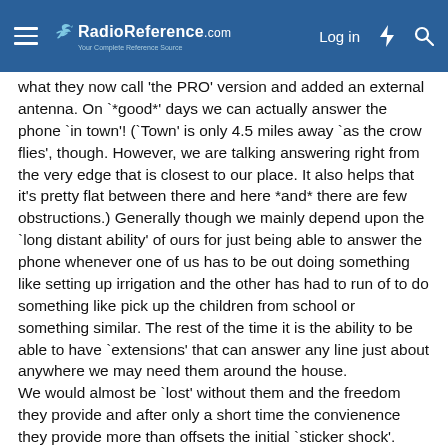RadioReference.com — Log in
what they now call 'the PRO' version and added an external antenna. On `*good*' days we can actually answer the phone `in town'! (`Town' is only 4.5 miles away `as the crow flies', though. However, we are talking answering right from the very edge that is closest to our place. It also helps that it's pretty flat between there and here *and* there are few obstructions.) Generally though we mainly depend upon the `long distant ability' of ours for just being able to answer the phone whenever one of us has to be out doing something like setting up irrigation and the other has had to run of to do something like pick up the children from school or something similar. The rest of the time it is the ability to be able to have `extensions' that can answer any line just about anywhere we may need them around the house.
We would almost be `lost' without them and the freedom they provide and after only a short time the convienence they provide more than offsets the initial `sticker shock'.
Oh, yeah... These things are built like the proverbial `brick outhouse', too. While I *don't* recommend doing this, I had one, one day, when I was moving some irrigation pipe on a `small'